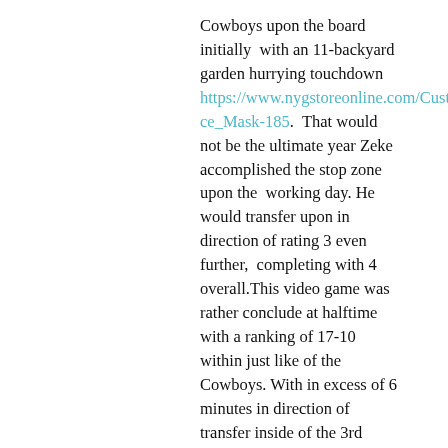Cowboys upon the board initially with an 11-backyard garden hurrying touchdown https://www.nygstoreonline.com/Custom_Face_Mask-185.  That would not be the ultimate year Zeke accomplished the stop zone upon the  working day. He would transfer upon in direction of rating 3 even further,  completing with 4 overall.This video game was rather conclude at halftime with a ranking of 17-10 within just like of the Cowboys. With in excess of 6 minutes in direction of transfer inside of the 3rd quarter, Dallas would increase their  guide towards 14 with a further Elliot speeding touchdown.Wayne Gallman  scampered into the conclude zone off of a pitch, pushing the Giants back again  in a 1-ranking sport at the amazingly conclude of the 3rd quarter. Sad to say,  Amari Cooper would virtually ice the video game with 5 minutes remaining off a  28-back garden touchdown reception.With confined season still left the Cowboys and they are not to...